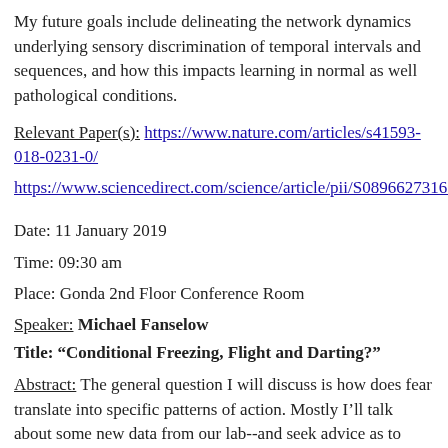My future goals include delineating the network dynamics underlying sensory discrimination of temporal intervals and sequences, and how this impacts learning in normal as well pathological conditions.
Relevant Paper(s): https://www.nature.com/articles/s41593-018-0231-0/
https://www.sciencedirect.com/science/article/pii/S08966273163025
Date: 11 January 2019
Time: 09:30 am
Place: Gonda 2nd Floor Conference Room
Speaker: Michael Fanselow
Title: “Conditional Freezing, Flight and Darting?”
Abstract: The general question I will discuss is how does fear translate into specific patterns of action. Mostly I’ll talk about some new data from our lab--and seek advice as to where to go from